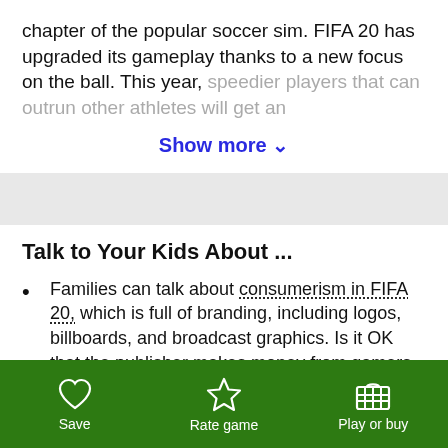chapter of the popular soccer sim. FIFA 20 has upgraded its gameplay thanks to a new focus on the ball. This year, speedier players that can outrun other athletes will get an
Show more ∨
Talk to Your Kids About ...
Families can talk about consumerism in FIFA 20, which is full of branding, including logos, billboards, and broadcast graphics. Is it OK that the publisher makes money from gamers and advertisers, too? Is product placement harmful?
Save   Rate game   Play or buy